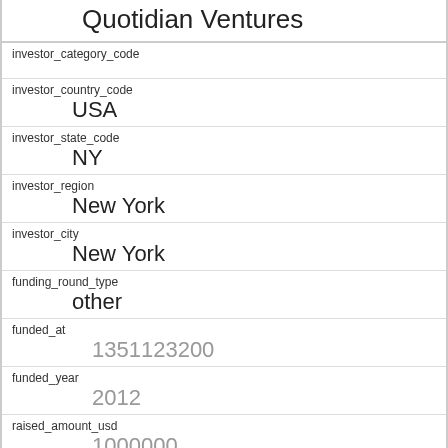Quotidian Ventures
investor_category_code
investor_country_code
USA
investor_state_code
NY
investor_region
New York
investor_city
New York
funding_round_type
other
funded_at
1351123200
funded_year
2012
raised_amount_usd
1000000
gristHelper_Display2